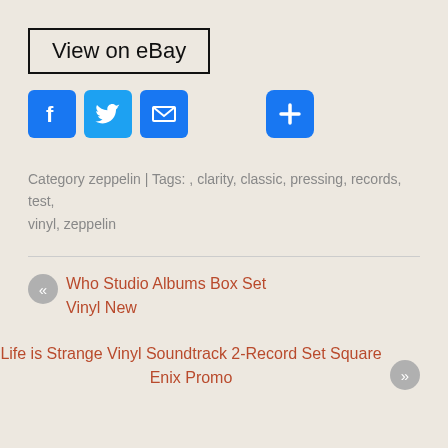View on eBay
[Figure (infographic): Social media share icons: Facebook (blue), Twitter (light blue), Email (blue), and a blue plus button]
Category zeppelin | Tags: , clarity, classic, pressing, records, test, vinyl, zeppelin
« Who Studio Albums Box Set Vinyl New
Life is Strange Vinyl Soundtrack 2-Record Set Square Enix Promo »